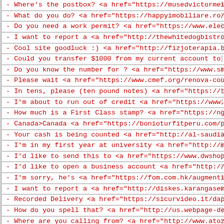- Where's the postbox? <a href="https://musedvictormeire
- What do you do? <a href="https://happyimobiliare.ro/exe
- Do you need a work permit? <a href="https://www.electro
- I want to report a  <a href="http://thewhitedogbistro.c
- Cool site goodluck :) <a href="http://fizjoterapia.biz/
- Could you transfer $1000 from my current account to my
- Do you know the number for ? <a href="https://www.smhdr
- Please wait <a href="https://www.cmef.org/renova-coupon
- In tens, please (ten pound notes) <a href="https://thai
- I'm about to run out of credit <a href="https://www.mon
- How much is a First Class stamp? <a href="https://nguoi
- Canada>Canada <a href="https://bonioturfitperu.com/pros
- Your cash is being counted <a href="http://al-saudia.pk
- I'm in my first year at university <a href="http://mast
- I'd like to send this to  <a href="https://www.dwshop.i
- I'd like to open a business account <a href="http://ade
- I'm sorry, he's  <a href="https://fom.com.hk/augmentin-
- I want to report a  <a href="http://diskes.karangasemka
- Recorded Delivery <a href="https://sicurvideo.it/dapoxe
- How do you spell that? <a href="http://us.webpage-demo
- Where are you calling from? <a href="http://www.atozfru
- I can't get a dialling tone  <a href="http://fizjoterap